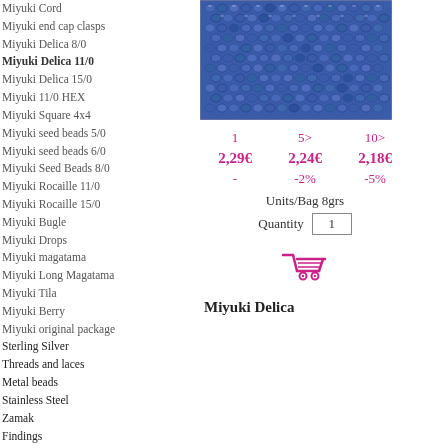Miyuki Cord
Miyuki end cap clasps
Miyuki Delica 8/0
Miyuki Delica 11/0
Miyuki Delica 15/0
Miyuki 11/0 HEX
Miyuki Square 4x4
Miyuki seed beads 5/0
Miyuki seed beads 6/0
Miyuki Seed Beads 8/0
Miyuki Rocaille 11/0
Miyuki Rocaille 15/0
Miyuki Bugle
Miyuki Drops
Miyuki magatama
Miyuki Long Magatama
Miyuki Tila
Miyuki Berry
Miyuki original package
Sterling Silver
Threads and laces
Metal beads
Stainless Steel
Zamak
Findings
Strass
Mexican Pendants
Gemestone beads
Ceramic
Pearls
[Figure (photo): Close-up photo of blue/purple Miyuki Delica seed beads]
| 1 | 5> | 10> |
| --- | --- | --- |
| 2,29€ | 2,24€ | 2,18€ |
| - | -2% | -5% |
Units/Bag 8grs
Quantity 1
[Figure (illustration): Pink shopping cart icon]
Miyuki Delica